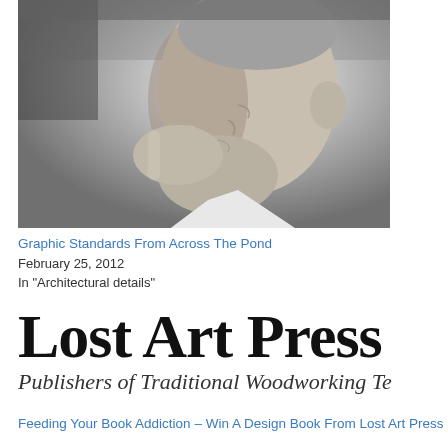[Figure (photo): Black and white close-up photograph of an elderly man's face in profile, hand raised near his chin/face, thoughtful pose]
Graphic Standards From Across The Pond
February 25, 2012
In "Architectural details"
[Figure (logo): Lost Art Press logo — large serif bold text 'Lost Art Press' with italic subtitle 'Publishers of Traditional Woodworking Te...']
Feeding Your Book Addiction – Win A Design Book From Lost Art Press